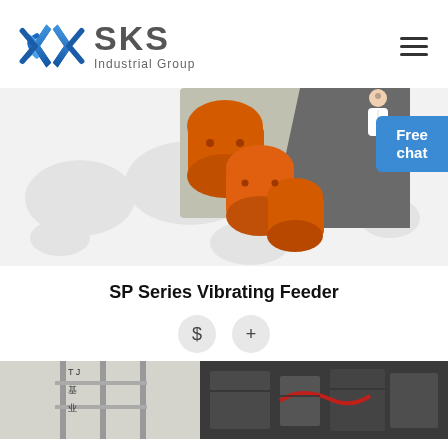[Figure (logo): SKS Industrial Group logo with blue diamond/arrow icon and grey SKS text with 'Industrial Group' subtitle]
[Figure (photo): Close-up photo of orange vibrating feeder motors/vibrators mounted on industrial equipment, with world map watermark background and a customer service person in top right corner with 'Free chat' blue button]
SP Series Vibrating Feeder
[Figure (infographic): Two circular icon buttons: dollar sign ($) and plus (+)]
[Figure (photo): Bottom portion showing industrial equipment photos: left side shows structural steel framework with Chinese characters, right side shows dark industrial machinery]